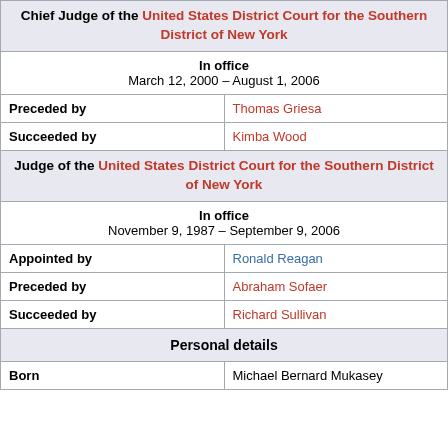| Chief Judge of the United States District Court for the Southern District of New York |
| In office | March 12, 2000 – August 1, 2006 |
| Preceded by | Thomas Griesa |
| Succeeded by | Kimba Wood |
| Judge of the United States District Court for the Southern District of New York |
| In office | November 9, 1987 – September 9, 2006 |
| Appointed by | Ronald Reagan |
| Preceded by | Abraham Sofaer |
| Succeeded by | Richard Sullivan |
| Personal details |
| Born | Michael Bernard Mukasey |